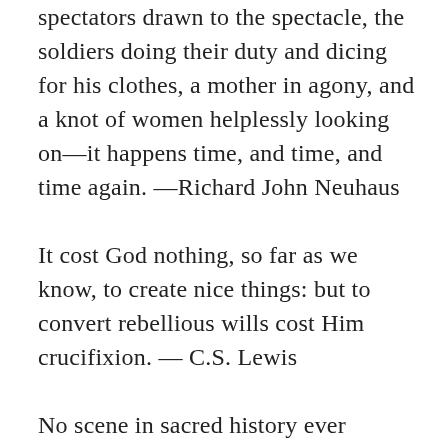spectators drawn to the spectacle, the soldiers doing their duty and dicing for his clothes, a mother in agony, and a knot of women helplessly looking on—it happens time, and time, and time again. —Richard John Neuhaus
It cost God nothing, so far as we know, to create nice things: but to convert rebellious wills cost Him crucifixion. — C.S. Lewis
No scene in sacred history ever gladdens